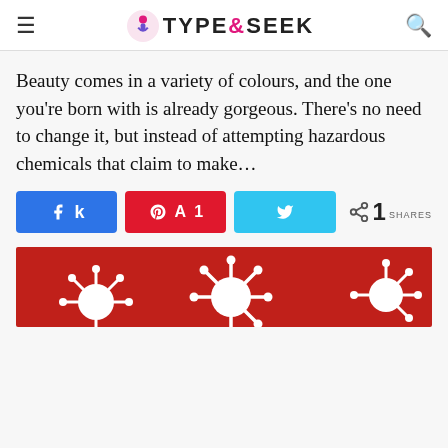TYPE&SEEK
Beauty comes in a variety of colours, and the one you’re born with is already gorgeous. There’s no need to change it, but instead of attempting hazardous chemicals that claim to make…
[Figure (other): Social share buttons: Facebook (blue), Pinterest (red) with count 1, Twitter (cyan), and share count showing 1 SHARES]
[Figure (photo): Photo of white virus/molecule models on a red background]